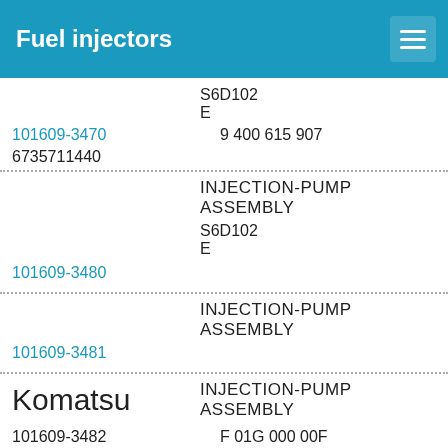Fuel injectors
S6D102
E
101609-3470
9 400 615 907
6735711440
INJECTION-PUMP ASSEMBLY
S6D102
E
101609-3480
INJECTION-PUMP ASSEMBLY
101609-3481
INJECTION-PUMP ASSEMBLY
Komatsu
101609-3482
F 01G 000 00F
3863840
INJECTION-PUMP ASSEMBLY